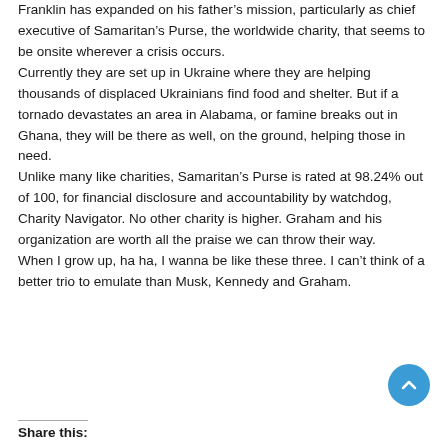Franklin has expanded on his father's mission, particularly as chief executive of Samaritan's Purse, the worldwide charity, that seems to be onsite wherever a crisis occurs. Currently they are set up in Ukraine where they are helping thousands of displaced Ukrainians find food and shelter. But if a tornado devastates an area in Alabama, or famine breaks out in Ghana, they will be there as well, on the ground, helping those in need. Unlike many like charities, Samaritan's Purse is rated at 98.24% out of 100, for financial disclosure and accountability by watchdog, Charity Navigator. No other charity is higher. Graham and his organization are worth all the praise we can throw their way. When I grow up, ha ha, I wanna be like these three. I can't think of a better trio to emulate than Musk, Kennedy and Graham.
Share this: